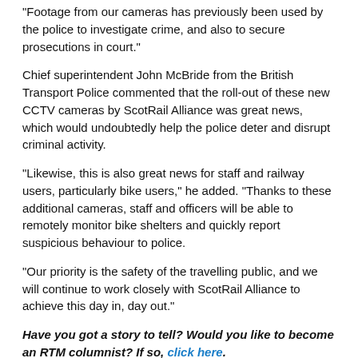“Footage from our cameras has previously been used by the police to investigate crime, and also to secure prosecutions in court.”
Chief superintendent John McBride from the British Transport Police commented that the roll-out of these new CCTV cameras by ScotRail Alliance was great news, which would undoubtedly help the police deter and disrupt criminal activity.
“Likewise, this is also great news for staff and railway users, particularly bike users,” he added. “Thanks to these additional cameras, staff and officers will be able to remotely monitor bike shelters and quickly report suspicious behaviour to police.
“Our priority is the safety of the travelling public, and we will continue to work closely with ScotRail Alliance to achieve this day in, day out.”
Have you got a story to tell? Would you like to become an RTM columnist? If so, click here.
Print   Email   Share   Comment
[Figure (other): Social share buttons: Twitter Tweet and LinkedIn Share buttons]